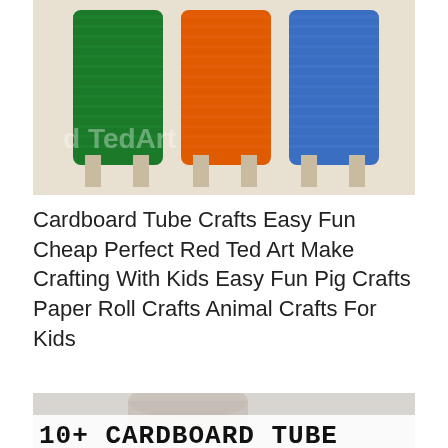[Figure (photo): Three cardboard tube crafts wrapped in green, orange, and blue yarn/felt, standing upright with cardboard legs, on a light background. Watermark text 'd TedArt' visible.]
Cardboard Tube Crafts Easy Fun Cheap Perfect Red Ted Art Make Crafting With Kids Easy Fun Pig Crafts Paper Roll Crafts Animal Crafts For Kids
[Figure (photo): Photo showing a cardboard tube roll on a light background with large bold text '10+ CARDBOARD TUBE CRAFT IDEAS' partially visible.]